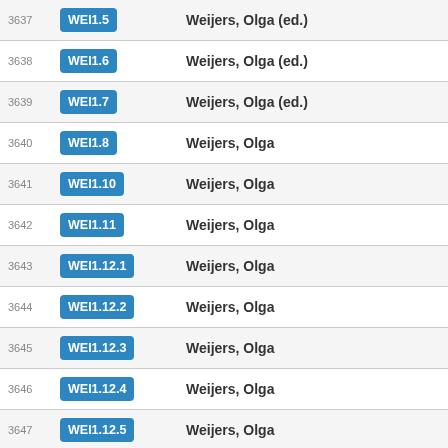| # | Code | Author |
| --- | --- | --- |
| 3637 | WEI1.5 | Weijers, Olga (ed.) |
| 3638 | WEI1.6 | Weijers, Olga (ed.) |
| 3639 | WEI1.7 | Weijers, Olga (ed.) |
| 3640 | WEI1.8 | Weijers, Olga |
| 3641 | WEI1.10 | Weijers, Olga |
| 3642 | WEI1.11 | Weijers, Olga |
| 3643 | WEI1.12.1 | Weijers, Olga |
| 3644 | WEI1.12.2 | Weijers, Olga |
| 3645 | WEI1.12.3 | Weijers, Olga |
| 3646 | WEI1.12.4 | Weijers, Olga |
| 3647 | WEI1.12.5 | Weijers, Olga |
| 3648 | WEI1.12.6 | Weijers, Olga |
| 3649 | WEI1.12.7 | Weijers, Olga |